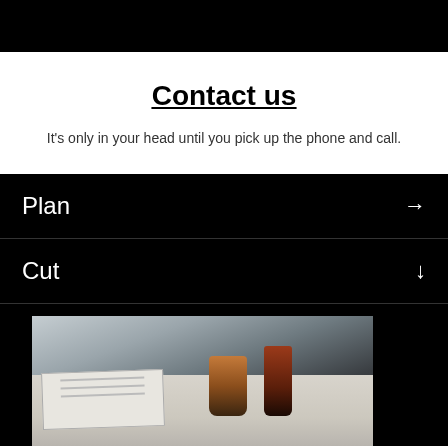Contact us
It's only in your head until you pick up the phone and call.
Plan →
Cut ↓
[Figure (photo): Close-up photo of a desk with paper documents/wireframes and coffee cups, shot from low angle on dark background]